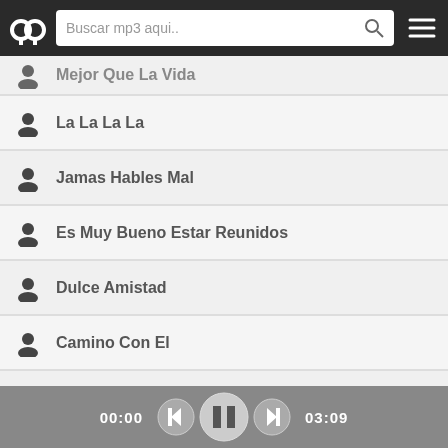Buscar mp3 aqui..
Mejor Que La Vida
La La La La
Jamas Hables Mal
Es Muy Bueno Estar Reunidos
Dulce Amistad
Camino Con El
Aquel Que En El Trono Esta
Ill Live In Glory
Jesus Is Coming Soon
No Eye Has Seen
Sing To The Lord A New Song
The Sound Of Music
00:00   03:09